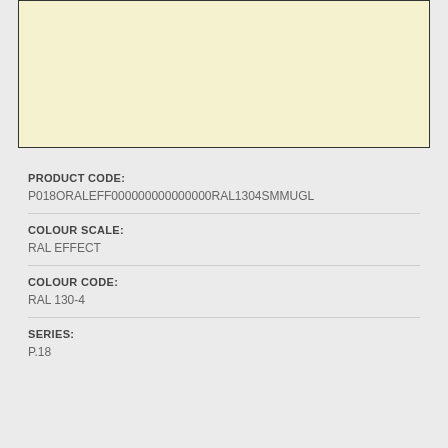[Figure (other): Color swatch showing a pale yellow-cream color (RAL 130-4)]
PRODUCT CODE:
P018ORALEFF000000000000000RAL1304SMMUGL
COLOUR SCALE:
RAL EFFECT
COLOUR CODE:
RAL 130-4
SERIES:
P.18